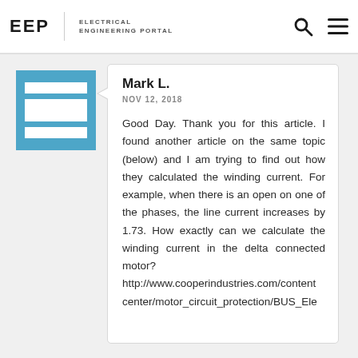EEP | ELECTRICAL ENGINEERING PORTAL
Mark L.
NOV 12, 2018
Good Day. Thank you for this article. I found another article on the same topic (below) and I am trying to find out how they calculated the winding current. For example, when there is an open on one of the phases, the line current increases by 1.73. How exactly can we calculate the winding current in the delta connected motor? http://www.cooperindustries.com/content center/motor_circuit_protection/BUS_Ele